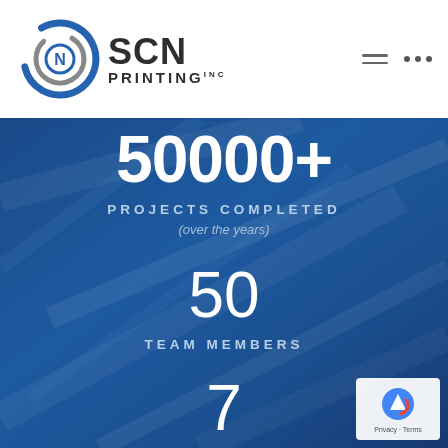[Figure (logo): SCN Printing Inc. logo with circular icon on left and SCN PRINTING INC text on right]
[Figure (infographic): Blue industrial background with stats: 50000+ Projects Completed (over the years), 50 Team Members, 7 (partial)]
50000+
PROJECTS COMPLETED
(over the years)
50
TEAM MEMBERS
7